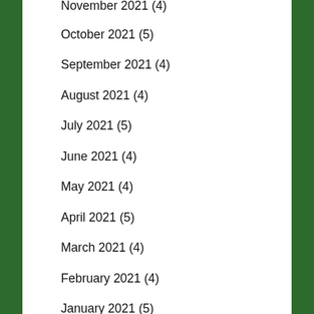November 2021 (4)
October 2021 (5)
September 2021 (4)
August 2021 (4)
July 2021 (5)
June 2021 (4)
May 2021 (4)
April 2021 (5)
March 2021 (4)
February 2021 (4)
January 2021 (5)
December 2020 (3)
November 2020 (4)